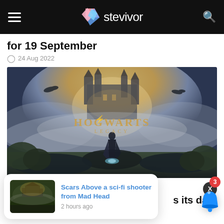stevivor
for 19 September
24 Aug 2022
[Figure (photo): Hogwarts Legacy promotional image showing a robed figure standing on a cliff overlooking a misty landscape with Hogwarts castle in the background and the Hogwarts Legacy logo]
NEWS
[Figure (screenshot): Notification popup card showing 'Scars Above a sci-fi shooter from Mad Head' article with thumbnail, posted 2 hours ago. Bell icon with red badge showing 3 notifications visible on the right side.]
s its dark